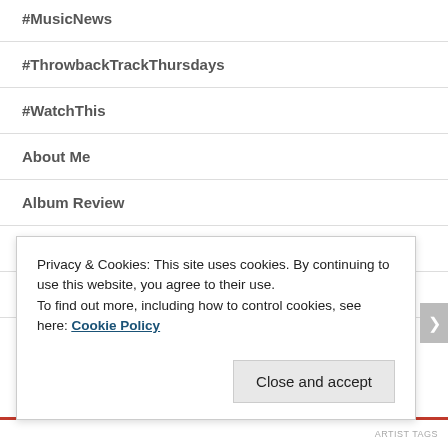#MusicNews
#ThrowbackTrackThursdays
#WatchThis
About Me
Album Review
Artist
Check it out
Dana Tune
Privacy & Cookies: This site uses cookies. By continuing to use this website, you agree to their use.
To find out more, including how to control cookies, see here: Cookie Policy
Close and accept